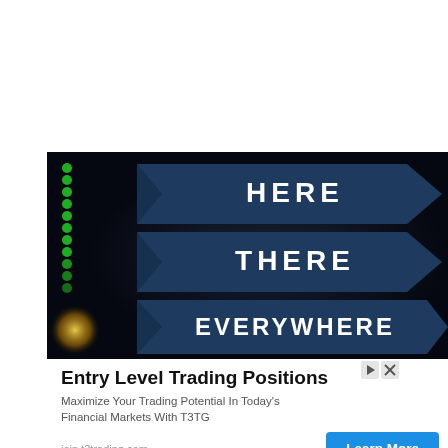[Figure (photo): Photo of three dark navy blue arrow signs pointing right, stacked vertically, reading HERE, THERE, EVERYWHERE in white bold text. Green circular lights visible on the left edge, yellow light bokeh at bottom left. Dark background.]
Entry Level Trading Positions
Maximize Your Trading Potential In Today's Financial Markets With T3TG
join.t3trading.com
Learn More